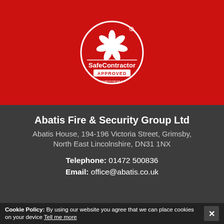[Figure (logo): SafeContractor Approved badge — white circle with flower/star icon and text 'SafeContractor APPROVED' on red background]
Abatis Fire & Security Group Ltd
Abatis House, 194-196 Victoria Street, Grimsby, North East Lincolnshire, DN31 1NX
Telephone: 01472 500836
Email: office@abatis.co.uk
Signup to our Newsletter
Cookie Policy: By using our website you agree that we can place cookies on your device Tell me more